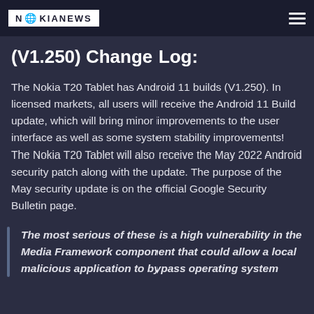NOKIANEWS
(V1.250) Change Log:
The Nokia T20 Tablet has Android 11 builds (V1.250). In licensed markets, all users will receive the Android 11 Build update, which will bring minor improvements to the user interface as well as some system stability improvements! The Nokia T20 Tablet will also receive the May 2022 Android security patch along with the update. The purpose of the May security update is on the official Google Security Bulletin page.
The most serious of these is a high vulnerability in the Media Framework component that could allow a local malicious application to bypass operating system